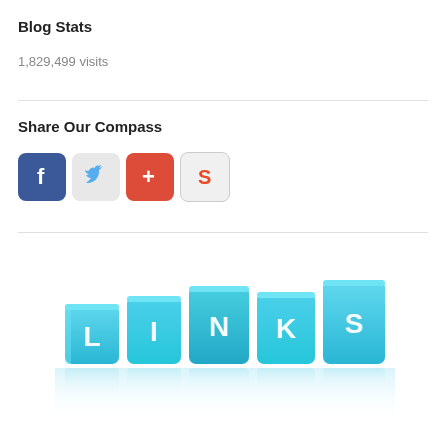Blog Stats
1,829,499 visits
Share Our Compass
[Figure (infographic): Four social media share buttons: Facebook (blue with F icon), Twitter (light gray with bird icon), Google+ (orange-red with + icon), StumbleUpon (light gray with S icon)]
[Figure (illustration): 3D blue toy blocks spelling out LINKS with white letters, with a subtle reflection below on a white surface]